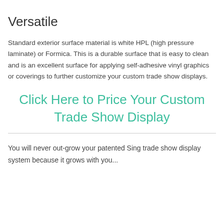Versatile
Standard exterior surface material is white HPL (high pressure laminate) or Formica. This is a durable surface that is easy to clean and is an excellent surface for applying self-adhesive vinyl graphics or coverings to further customize your custom trade show displays.
Click Here to Price Your Custom Trade Show Display
You will never out-grow your patented Sing trade show display system because it grows with you...